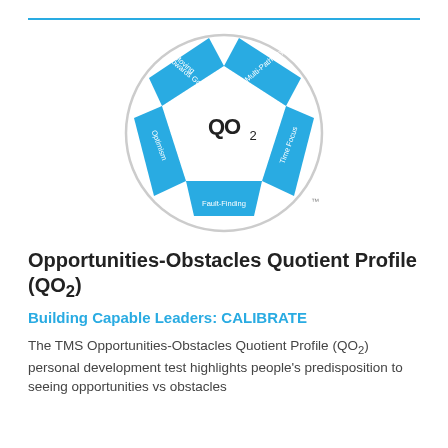[Figure (other): QO2 pentagon diagram: a circle containing a blue star/pentagon shape with five labeled segments: Moving Towards Goals (top-left), Multi-Pathways (top-right), Time Focus (right), Fault-Finding (bottom), Optimism (left). The center shows 'QO2' text with a subscript 2. A trademark symbol appears at the bottom-right outside the pentagon.]
Opportunities-Obstacles Quotient Profile (QO₂)
Building Capable Leaders: CALIBRATE
The TMS Opportunities-Obstacles Quotient Profile (QO₂) personal development test highlights people's predisposition to seeing opportunities vs obstacles